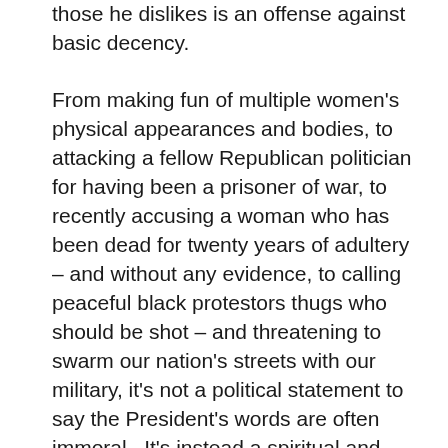those he dislikes is an offense against basic decency.
From making fun of multiple women's physical appearances and bodies, to attacking a fellow Republican politician for having been a prisoner of war, to recently accusing a woman who has been dead for twenty years of adultery – and without any evidence, to calling peaceful black protestors thugs who should be shot – and threatening to swarm our nation's streets with our military, it's not a political statement to say the President's words are often immoral.  It's instead a spiritual and human rights statement.  Our President is a bully.
Bullying is an activity of repeated, aggressive behavior intended to hurt another individual or individuals, physically, mentally, or emotionally.  It takes the form of psychological, physical, verbal, or